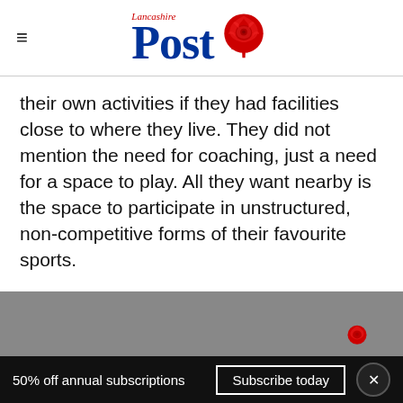Lancashire Post
their own activities if they had facilities close to where they live. They did not mention the need for coaching, just a need for a space to play. All they want nearby is the space to participate in unstructured, non-competitive forms of their favourite sports.
50% off annual subscriptions  Subscribe today